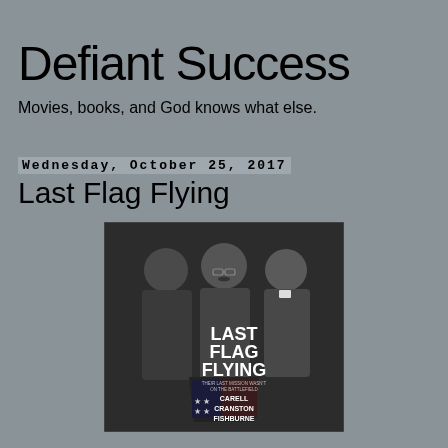Defiant Success
Movies, books, and God knows what else.
Wednesday, October 25, 2017
Last Flag Flying
[Figure (photo): Movie poster for Last Flag Flying featuring three men in dark clothing, black and white photograph. Text on poster reads: LAST FLAG FLYING, THEIR LAST MISSION WASN'T ON THE BATTLEFIELD, CARELL, CRANSTON, FISHBURNE]